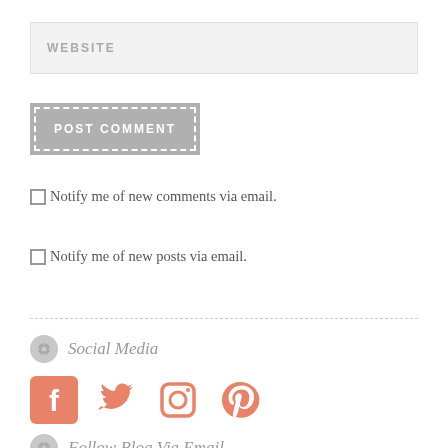WEBSITE
POST COMMENT
Notify me of new comments via email.
Notify me of new posts via email.
Social Media
[Figure (illustration): Four social media icons in salmon/coral color: Facebook, Twitter, Instagram, Pinterest]
Follow Blog Via Email